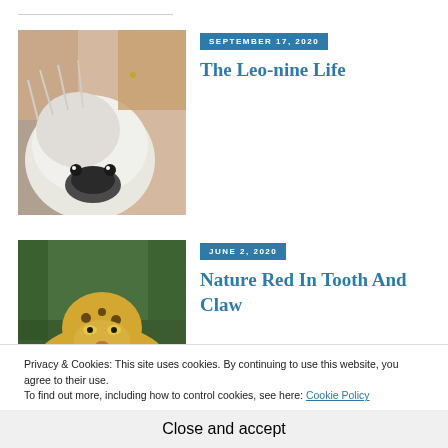[Figure (photo): Close-up photo of a person holding a small fluffy white dog near their face]
SEPTEMBER 17, 2020
The Leo-nine Life
[Figure (photo): Photo of a leopard walking through water in a natural habitat]
JUNE 2, 2020
Nature Red In Tooth And Claw
Privacy & Cookies: This site uses cookies. By continuing to use this website, you agree to their use.
To find out more, including how to control cookies, see here: Cookie Policy
Close and accept